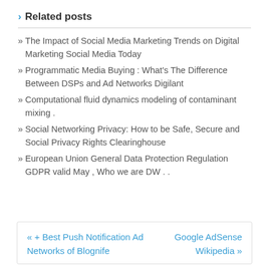Related posts
The Impact of Social Media Marketing Trends on Digital Marketing Social Media Today
Programmatic Media Buying : What's The Difference Between DSPs and Ad Networks Digilant
Computational fluid dynamics modeling of contaminant mixing .
Social Networking Privacy: How to be Safe, Secure and Social Privacy Rights Clearinghouse
European Union General Data Protection Regulation GDPR valid May , Who we are DW . .
« + Best Push Notification Ad Networks of Blognife   Google AdSense Wikipedia »